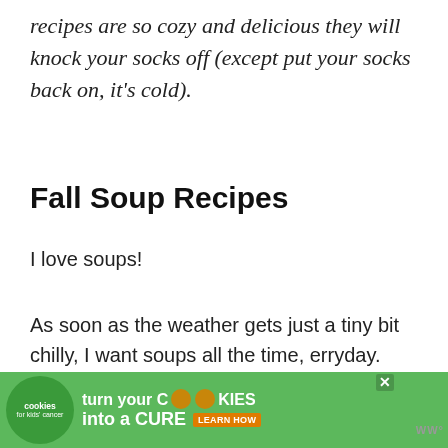recipes are so cozy and delicious they will knock your socks off (except put your socks back on, it's cold).
Fall Soup Recipes
I love soups!
As soon as the weather gets just a tiny bit chilly, I want soups all the time, erryday.
[Figure (other): Advertisement banner: 'cookies for kids cancer — turn your COOKIES into a CURE LEARN HOW' with green background and cookie icon]